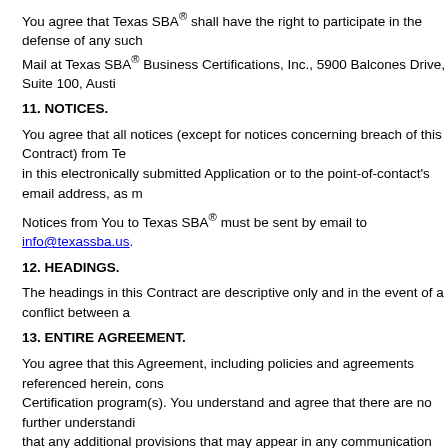You agree that Texas SBA® shall have the right to participate in the defense of any such claim. Mail at Texas SBA® Business Certifications, Inc., 5900 Balcones Drive, Suite 100, Austi
11. NOTICES.
You agree that all notices (except for notices concerning breach of this Contract) from Te in this electronically submitted Application or to the point-of-contact's email address, as m
Notices from You to Texas SBA® must be sent by email to info@texassba.us.
12. HEADINGS.
The headings in this Contract are descriptive only and in the event of a conflict between a
13. ENTIRE AGREEMENT.
You agree that this Agreement, including policies and agreements referenced herein, cons Certification program(s). You understand and agree that there are no further understandi that any additional provisions that may appear in any communication from you will not b
14. SEVERABILITY.
You agree that the terms of this Contract are severable. If any part of this Contract is dete with the original intention of both parties to the Contract. The American Arbitration Asso "desk" arbitration, allowing for submission of documents only, and judgment on the awa unenforceable) will remain in full force and effect.
15. WAIVER.
The failure of Texas SBA® to enforce any of the provisions within this Contract or its id